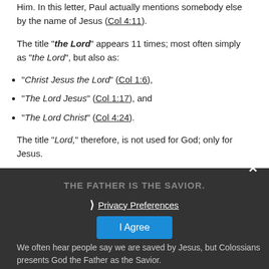Him. In this letter, Paul actually mentions somebody else by the name of Jesus (Col 4:11).
The title “the Lord” appears 11 times; most often simply as “the Lord”, but also as:
“Christ Jesus the Lord” (Col 1:6),
“The Lord Jesus” (Col 1:17), and
“The Lord Christ” (Col 4:24).
The title “Lord,” therefore, is not used for God; only for Jesus.
THE FATHER IS THE SAVIOR.
Privacy Preferences
I Agree
We often hear people say we are saved by Jesus, but Colossians presents God the Father as the Savior.